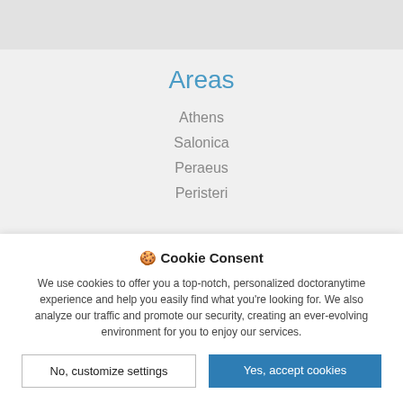Areas
Athens
Salonica
Peraeus
Peristeri
🍪 Cookie Consent
We use cookies to offer you a top-notch, personalized doctoranytime experience and help you easily find what you're looking for. We also analyze our traffic and promote our security, creating an ever-evolving environment for you to enjoy our services.
No, customize settings
Yes, accept cookies